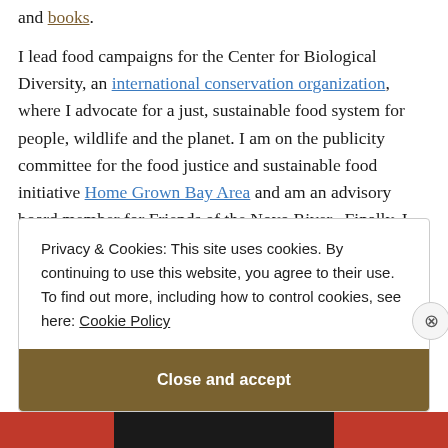and books.
I lead food campaigns for the Center for Biological Diversity, an international conservation organization, where I advocate for a just, sustainable food system for people, wildlife and the planet. I am on the publicity committee for the food justice and sustainable food initiative Home Grown Bay Area and am an advisory board member for Friends of the Noyo River. Finally, I am creator of Food X and author at Medium.
Privacy & Cookies: This site uses cookies. By continuing to use this website, you agree to their use.
To find out more, including how to control cookies, see here: Cookie Policy
Close and accept